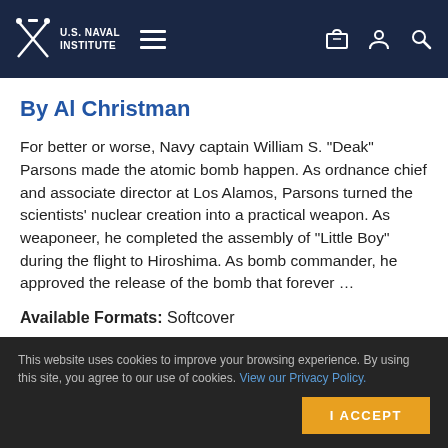U.S. Naval Institute
By Al Christman
For better or worse, Navy captain William S. "Deak" Parsons made the atomic bomb happen. As ordnance chief and associate director at Los Alamos, Parsons turned the scientists' nuclear creation into a practical weapon. As weaponeer, he completed the assembly of "Little Boy" during the flight to Hiroshima. As bomb commander, he approved the release of the bomb that forever …
Available Formats: Softcover
This website uses cookies to improve your browsing experience. By using this site, you agree to our use of cookies. View our Privacy Policy.